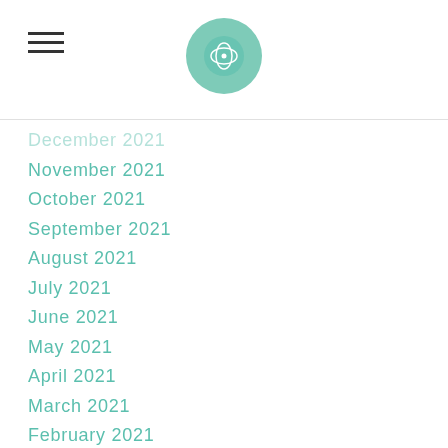[hamburger menu icon] [logo circle]
December 2021
November 2021
October 2021
September 2021
August 2021
July 2021
June 2021
May 2021
April 2021
March 2021
February 2021
January 2021
December 2020
November 2020
October 2020
September 2020
July 2020
June 2020